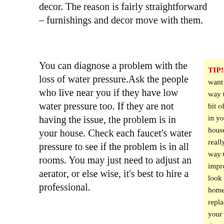decor. The reason is fairly straightforward – furnishings and decor move with them.
You can diagnose a problem with the loss of water pressure.Ask the people who live near you if they have low water pressure too. If they are not having the issue, the problem is in your house. Check each faucet's water pressure to see if the problem is in all rooms. You may just need to adjust an aerator, or else wise, it's best to hire a professional.
TIP! Do you want a cheap way to add a bit of class in your house? A really good way to improve the look of your home is replacing your old door bell with an elegant one. This is an improvement anyone who comes to your home will notice.